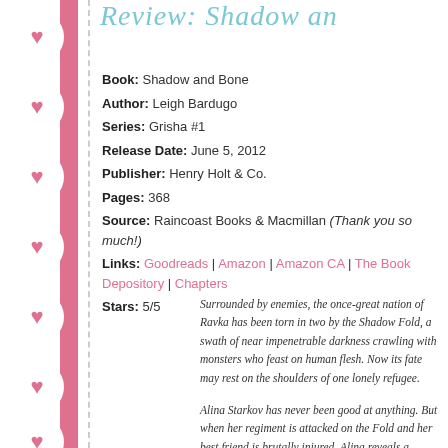Review: Shadow an
Book: Shadow and Bone
Author: Leigh Bardugo
Series: Grisha #1
Release Date: June 5, 2012
Publisher: Henry Holt & Co.
Pages: 368
Source: Raincoast Books & Macmillan (Thank you so much!)
Links: Goodreads | Amazon | Amazon CA | The Book Depository | Chapters
Stars: 5/5
Surrounded by enemies, the once-great nation of Ravka has been torn in two by the Shadow Fold, a swath of near impenetrable darkness crawling with monsters who feast on human flesh. Now its fate may rest on the shoulders of one lonely refugee.
Alina Starkov has never been good at anything. But when her regiment is attacked on the Fold and her best friend is brutally injured, Alina reveals a dormant power tha